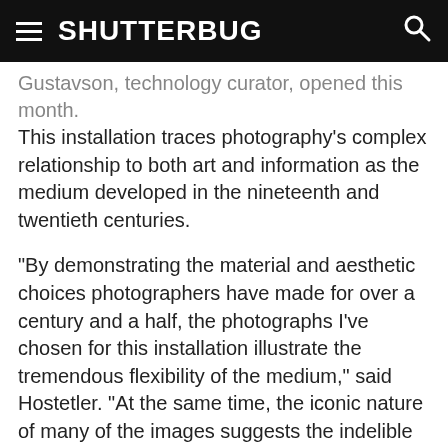SHUTTERBUG
Gustavson, technology curator, opened this month. This installation traces photography's complex relationship to both art and information as the medium developed in the nineteenth and twentieth centuries.
"By demonstrating the material and aesthetic choices photographers have made for over a century and a half, the photographs I've chosen for this installation illustrate the tremendous flexibility of the medium," said Hostetler. "At the same time, the iconic nature of many of the images suggests the indelible impact photography has had on our understanding of human vision and creativity."